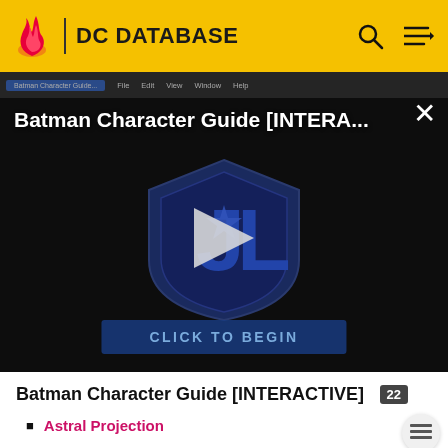DC DATABASE
[Figure (screenshot): Video thumbnail showing 'Batman Character Guide [INTERA...' with a Justice League shield logo, play button, and 'CLICK TO BEGIN' button on a dark background]
Batman Character Guide [INTERACTIVE]
Astral Projection
Mind Control: As an extension of this, Martians can also use the ability to alter a
person's mind, often for short-term conditioning...